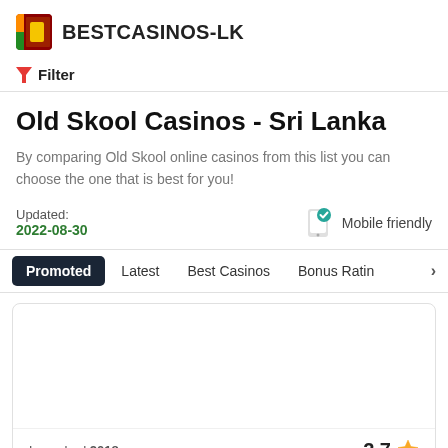BESTCASINOS-LK
Filter
Old Skool Casinos - Sri Lanka
By comparing Old Skool online casinos from this list you can choose the one that is best for you!
Updated: 2022-08-30
Mobile friendly
Promoted  Latest  Best Casinos  Bonus Rating
Launched 2018  2.7